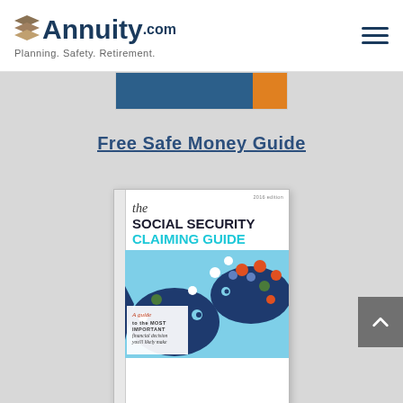Annuity.com — Planning. Safety. Retirement.
[Figure (other): Partial top of a book cover showing blue and orange/gold banner strip]
Free Safe Money Guide
[Figure (illustration): Cover of 'the Social Security Claiming Guide' (2016 edition) — a guide to the most important financial decision you'll likely make, illustrated with blue fish and colorful dots]